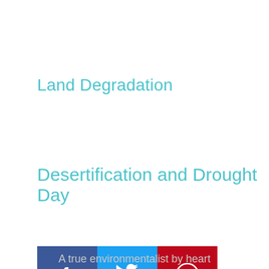Land Degradation
Desertification and Drought Day
[Figure (other): Social share buttons: Facebook (blue), Twitter (light blue), Pinterest (red) icons in square buttons]
[Figure (photo): Circular profile photo of a man wearing sunglasses and a salmon/coral polo shirt]
About Rinkesh
A true environmentalist by heart